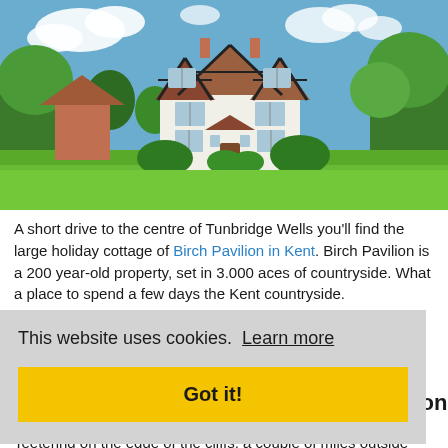[Figure (photo): A large white Tudor-style holiday cottage with black timber framing and distinctive pointed gabled rooflines, set amid green lawns and trees under a blue sky with clouds. The two-storey building has a central entrance porch.]
A short drive to the centre of Tunbridge Wells you'll find the large holiday cottage of Birch Pavilion in Kent. Birch Pavilion is a 200 year-old property, set in 3.000 aces of countryside. What a place to spend a few days the Kent countryside.
This website uses cookies. Learn more
Got it!
se on
Holidays at Anvil Point Lighthouse on the Dorset Coast
Teetering on the edge of the cliffs, a couple of miles outside